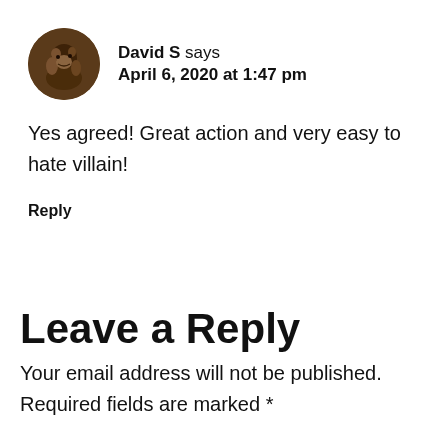[Figure (photo): Circular avatar photo of user David S, showing a dark brownish image of a person or figure]
David S says
April 6, 2020 at 1:47 pm
Yes agreed! Great action and very easy to hate villain!
Reply
Leave a Reply
Your email address will not be published. Required fields are marked *